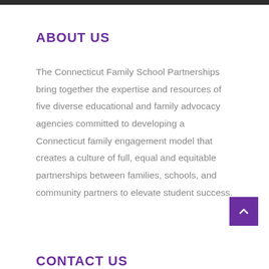ABOUT US
The Connecticut Family School Partnerships bring together the expertise and resources of five diverse educational and family advocacy agencies committed to developing a Connecticut family engagement model that creates a culture of full, equal and equitable partnerships between families, schools, and community partners to elevate student success.
CONTACT US